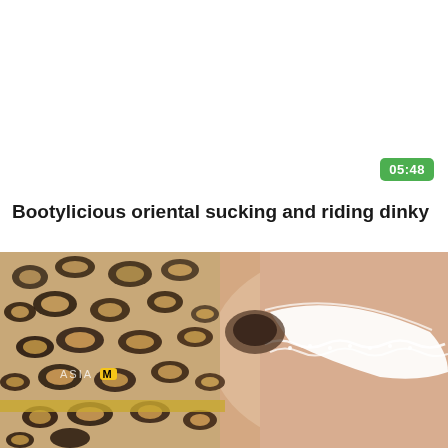[Figure (screenshot): Video thumbnail placeholder area (white background) with green duration badge showing 05:48 in bottom-right corner]
Bootylicious oriental sucking and riding dinky
[Figure (photo): Video preview still image showing person in leopard print clothing with white lace underwear, watermark reads ASIA M]